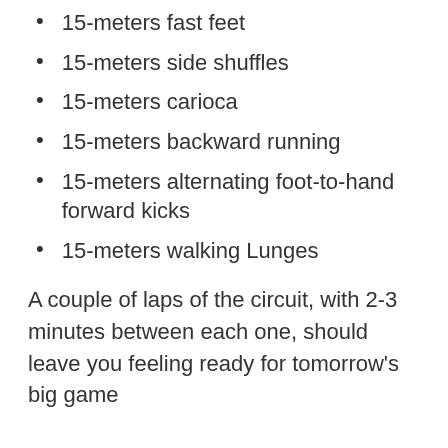15-meters fast feet
15-meters side shuffles
15-meters carioca
15-meters backward running
15-meters alternating foot-to-hand forward kicks
15-meters walking Lunges
A couple of laps of the circuit, with 2-3 minutes between each one, should leave you feeling ready for tomorrow’s big game